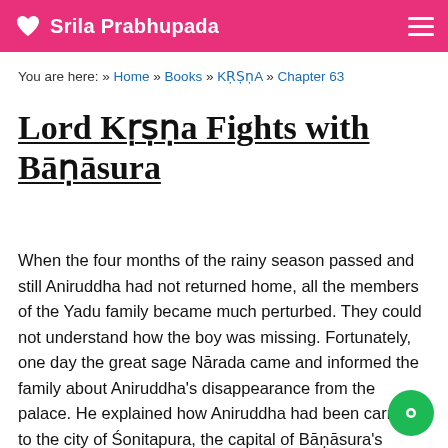Srila Prabhupada
You are here: » Home » Books » KṚṢṆA » Chapter 63
Lord Kṛṣṇa Fights with Bāṇāsura
When the four months of the rainy season passed and still Aniruddha had not returned home, all the members of the Yadu family became much perturbed. They could not understand how the boy was missing. Fortunately, one day the great sage Nārada came and informed the family about Aniruddha's disappearance from the palace. He explained how Aniruddha had been carried to the city of Śonitapura, the capital of Bāṇāsura's empire, and how Bāṇāsura had arrested him with the nāgapā… even though Aniruddha had defeated his soldiers